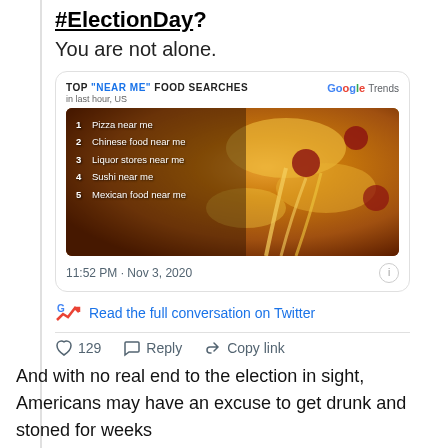#ElectionDay?
You are not alone.
[Figure (screenshot): Google Trends tweet card showing 'TOP NEAR ME FOOD SEARCHES in last hour, US' with a pizza image and list: 1 Pizza near me, 2 Chinese food near me, 3 Liquor stores near me, 4 Sushi near me, 5 Mexican food near me. Timestamp: 11:52 PM · Nov 3, 2020]
Read the full conversation on Twitter
129  Reply  Copy link
And with no real end to the election in sight, Americans may have an excuse to get drunk and stoned for weeks